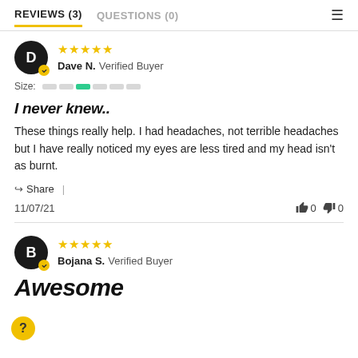REVIEWS (3)   QUESTIONS (0)
Dave N. Verified Buyer — 5 stars
Size:
I never knew..
These things really help. I had headaches, not terrible headaches but I have really noticed my eyes are less tired and my head isn't as burnt.
Share | 11/07/21   👍 0   👎 0
Bojana S. Verified Buyer — 5 stars
Awesome